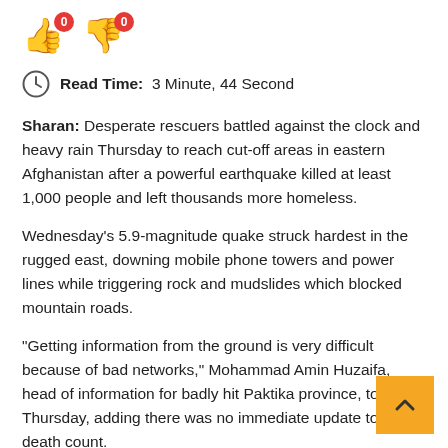[Figure (other): Thumbs up emoji with blue color and red badge showing 0, and thumbs down emoji with orange/tan color and red badge showing 0]
Read Time: 3 Minute, 44 Second
Sharan: Desperate rescuers battled against the clock and heavy rain Thursday to reach cut-off areas in eastern Afghanistan after a powerful earthquake killed at least 1,000 people and left thousands more homeless.
Wednesday’s 5.9-magnitude quake struck hardest in the rugged east, downing mobile phone towers and power lines while triggering rock and mudslides which blocked mountain roads.
“Getting information from the ground is very difficult because of bad networks,” Mohammad Amin Huzaifa, head of information for badly hit Paktika province, told AFP Thursday, adding there was no immediate update to the death count.